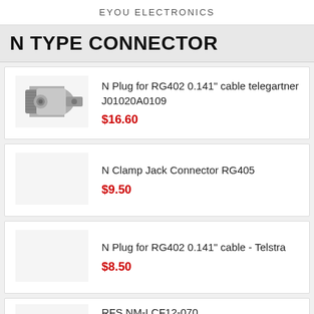EYOU ELECTRONICS
N TYPE CONNECTOR
N Plug for RG402 0.141" cable telegartner J01020A0109
$16.60
N Clamp Jack Connector RG405
$9.50
N Plug for RG402 0.141" cable - Telstra
$8.50
RFS NM-LCF12-070 RAPIDFIT CONNECTOR F...